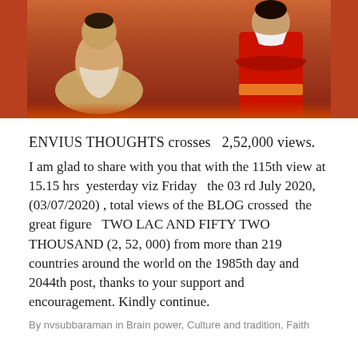[Figure (photo): Two figures in traditional/cultural attire against a warm red-orange background. Left figure seated cross-legged, right figure standing with arms crossed wearing red costume with orange sash.]
ENVIUS THOUGHTS crosses   2,52,000 views.
I am glad to share with you that with the 115th view at 15.15 hrs  yesterday viz Friday   the 03 rd July 2020, (03/07/2020) , total views of the BLOG crossed  the great figure   TWO LAC AND FIFTY TWO THOUSAND (2, 52, 000) from more than 219 countries around the world on the 1985th day and 2044th post, thanks to your support and encouragement. Kindly continue.
By nvsubbaraman in Brain power, Culture and tradition, Faith